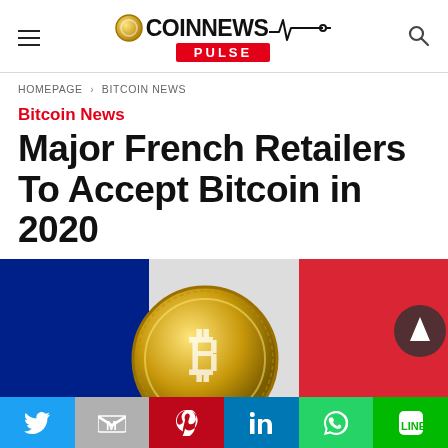COINNEWS PULSE — navigation header with hamburger menu and search icon
HOMEPAGE › BITCOIN NEWS
Bitcoin News
Major French Retailers To Accept Bitcoin in 2020
[Figure (photo): French flag (blue, white, red tricolor) with a gold Bitcoin coin in the foreground]
[Figure (other): Social share buttons: Twitter, Gmail/Email, Pinterest, LinkedIn, WhatsApp, LINE]